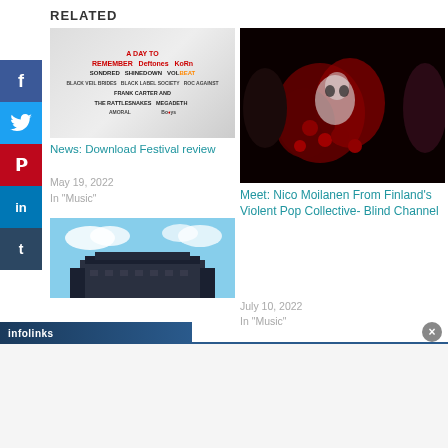RELATED
[Figure (photo): Download Festival lineup poster showing band names including A Day To Remember, Deftones, Korn, Sondred, Shinedown, Volbeat, Black Veil Brides, Black Label Society, Roc Against, Frank Carter and The Rattlesnakes, Megadeth, and others]
News: Download Festival review
May 19, 2022
In "Music"
[Figure (photo): Dark artistic photo showing a skull adorned with red roses between two people with dark hair]
Meet: Nico Moilanen From Finland's Violent Pop Collective- Blind Channel
July 10, 2022
In "Music"
[Figure (photo): Photo of a venue building against a partly cloudy sky]